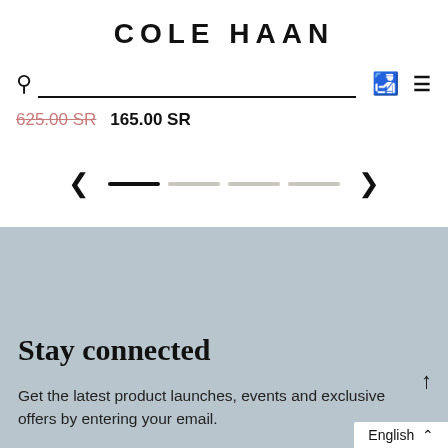COLE HAAN
625.00 SR  165.00 SR
[Figure (screenshot): Carousel navigation controls: left arrow, four horizontal indicator bars (first active/black, three inactive/gray), right arrow]
Stay connected
Get the latest product launches, events and exclusive offers by entering your email.
English